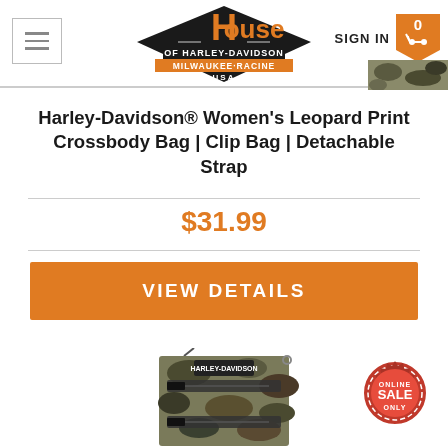[Figure (logo): House of Harley-Davidson Milwaukee-Racine USA logo, orange and black diamond shape]
Harley-Davidson® Women's Leopard Print Crossbody Bag | Clip Bag | Detachable Strap
$31.99
VIEW DETAILS
[Figure (photo): Harley-Davidson crossbody bag in camouflage pattern with black zipper pockets and logo patch, with detachable strap. Sale badge overlay.]